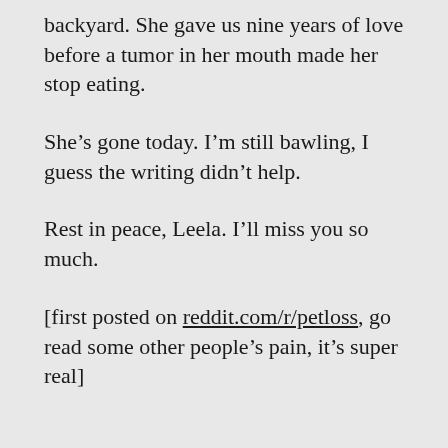backyard. She gave us nine years of love before a tumor in her mouth made her stop eating.
She’s gone today. I’m still bawling, I guess the writing didn’t help.
Rest in peace, Leela. I’ll miss you so much.
[first posted on reddit.com/r/petloss, go read some other people’s pain, it’s super real]